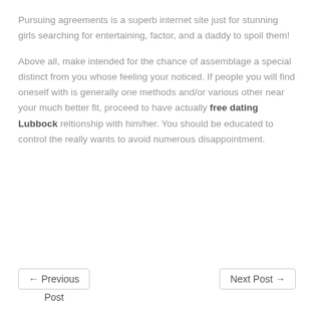Pursuing agreements is a superb internet site just for stunning girls searching for entertaining, factor, and a daddy to spoil them!
Above all, make intended for the chance of assemblage a special distinct from you whose feeling your noticed. If people you will find oneself with is generally one methods and/or various other near your much better fit, proceed to have actually free dating Lubbock reltionship with him/her. You should be educated to control the really wants to avoid numerous disappointment.
← Previous Post
Next Post →